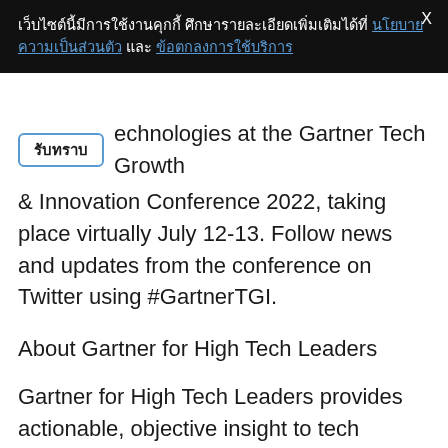เว็บไซต์นี้มีการใช้งานคุกกี้ ศึกษารายละเอียดเพิ่มเติมได้ที่ นโยบายความเป็นส่วนตัว และ ข้อตกลงการใช้บริการ
technologies at the Gartner Tech Growth & Innovation Conference 2022, taking place virtually July 12-13. Follow news and updates from the conference on Twitter using #GartnerTGI.
About Gartner for High Tech Leaders
Gartner for High Tech Leaders provides actionable, objective insight to tech leaders and their teams with role-based best practices, industry insights and strategic views into emerging trends and market changes to achieve their mission-critical priorities and build the successful organizations of